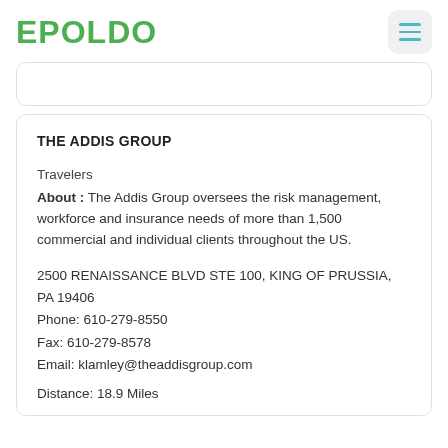EPOLDO
THE ADDIS GROUP
Travelers
About : The Addis Group oversees the risk management, workforce and insurance needs of more than 1,500 commercial and individual clients throughout the US.
2500 RENAISSANCE BLVD STE 100, KING OF PRUSSIA, PA 19406
Phone: 610-279-8550
Fax: 610-279-8578
Email: klamley@theaddisgroup.com
Distance: 18.9 Miles